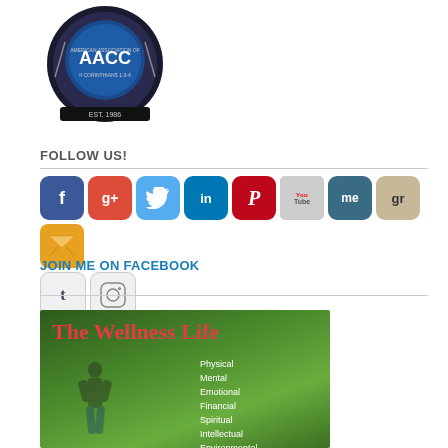[Figure (logo): AACC (American Association of Christian Counselors) circular badge logo with blue center and II Corinthians 1:3-4 text]
FOLLOW US!
[Figure (infographic): Row of social media icon buttons: Facebook, Google+, Twitter, LinkedIn, Pinterest, YouTube, About.me, Goodreads, mail/envelope, Tumblr, Instagram]
JOIN ME ON FACEBOOK
[Figure (illustration): Book cover image for 'The Wellness Life' showing a woman balancing outdoors with a list: Physical, Mental, Emotional, Financial, Spiritual, Intellectual, Environmental, Occupational]